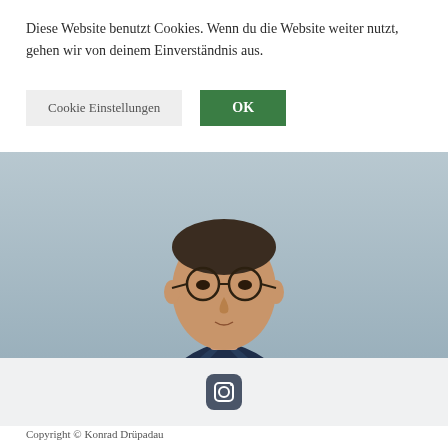Diese Website benutzt Cookies. Wenn du die Website weiter nutzt, gehen wir von deinem Einverständnis aus.
Cookie Einstellungen
OK
[Figure (photo): Professional headshot of a man in a dark navy suit with round glasses and a tie, against a gray background]
[Figure (illustration): Instagram icon (rounded square with circle inside)]
Copyright © Konrad Drüpadau